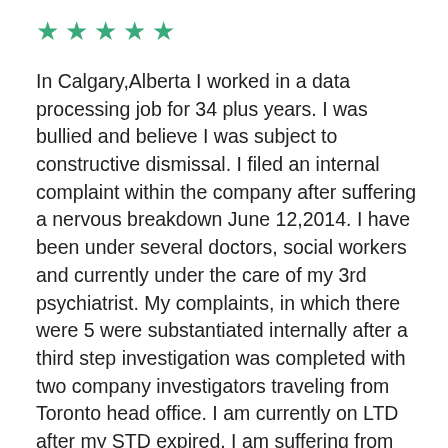[Figure (other): Five green star rating icons]
In Calgary,Alberta I worked in a data processing job for 34 plus years. I was bullied and believe I was subject to constructive dismissal. I filed an internal complaint within the company after suffering a nervous breakdown June 12,2014. I have been under several doctors, social workers and currently under the care of my 3rd psychiatrist. My complaints, in which there were 5 were substantiated internally after a third step investigation was completed with two company investigators traveling from Toronto head office. I am currently on LTD after my STD expired. I am suffering from PTSD , with the symptoms still ongoing. I have collected all documentation. I have applied for CPP (denied 1st application, 90 days to appeal) while on LTD with Manulife. I believe that I have 2 years to file a statement of claim against the 3 management individuals involved before my statute of limitations will expire. I need to find out my options and am currently writing up my own